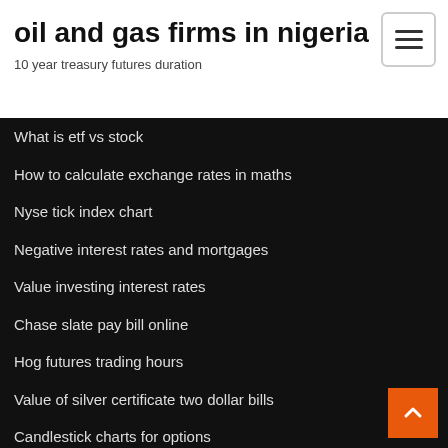oil and gas firms in nigeria
10 year treasury futures duration
What is etf vs stock
How to calculate exchange rates in maths
Nyse tick index chart
Negative interest rates and mortgages
Value investing interest rates
Chase slate pay bill online
Hog futures trading hours
Value of silver certificate two dollar bills
Candlestick charts for options
One way trading review